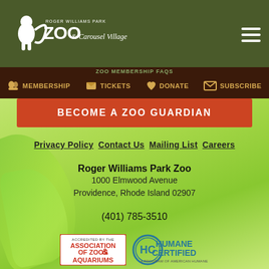[Figure (logo): Roger Williams Park Zoo & Carousel Village logo — white animal silhouette with 'ZOO & Carousel Village' text on dark olive/green background header]
ZOO MEMBERSHIP FAQS
Membership  Tickets  Donate  Subscribe
BECOME A ZOO GUARDIAN
Privacy Policy  Contact Us  Mailing List  Careers
Roger Williams Park Zoo
1000 Elmwood Avenue
Providence, Rhode Island 02907
(401) 785-3510
[Figure (logo): Association of Zoos and Aquariums accreditation badge and Humane Certified certification logo]